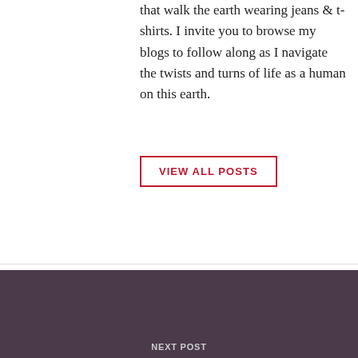that walk the earth wearing jeans & t-shirts. I invite you to browse my blogs to follow along as I navigate the twists and turns of life as a human on this earth.
VIEW ALL POSTS
◄ PREVIOUS POST
And she's off!
NEXT POST